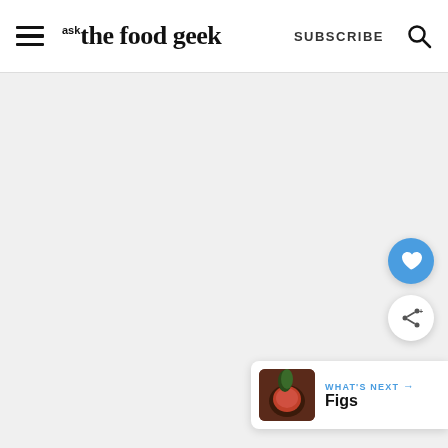ask the food geek — SUBSCRIBE
[Figure (screenshot): Large light grey empty content area of a food blog website]
[Figure (other): Blue circular heart/favorite button (FAB)]
[Figure (other): White circular share button (FAB) with share icon]
WHAT'S NEXT → Figs